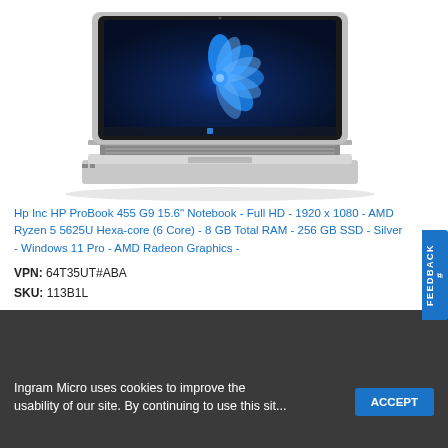[Figure (photo): HP ProBook 455 G9 laptop open, showing Windows 11 desktop with blue spiral/flower wallpaper, silver aluminum casing, black keyboard, thin bezels.]
Hp Inc HP ProBook 455 G9 15.6" Notebook - Full HD - 1920 x 1080 - AMD Ryzen 5 5625U Hexa-core (6 Core) - 8 GB Total RAM - 256 GB SSD - Silver - Windows 11 Pro - AMD Radeon Graphics -
VPN: 64T35UT#ABA
SKU: 113B1L
Ingram Micro uses cookies to improve the usability of our site. By continuing to use this site...